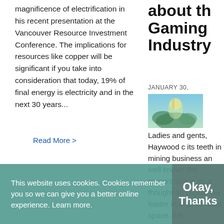magnificence of electrification in his recent presentation at the Vancouver Resource Investment Conference. The implications for resources like copper will be significant if you take into consideration that today, 19% of final energy is electricity and in the next 30 years...
Read More >
about th Gaming Industry
JANUARY 30,
[Figure (photo): Small thumbnail image of a fantasy/gaming scene with green and blue tones]
Ladies and gents, Haywood c its teeth in mining business an well known the resourc space as a thought an capital ma leader in th junior mini space. We
This website uses cookies. Cookies remember you so we can give you a better online experience. Learn more.
Okay, Thanks